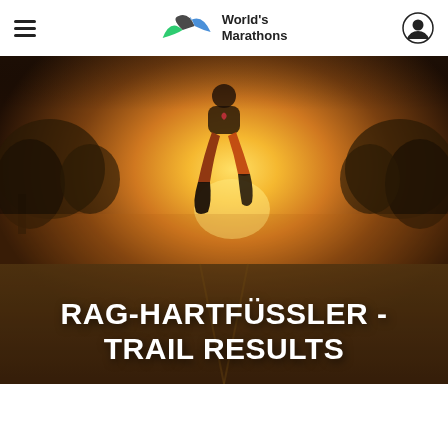World's Marathons
[Figure (photo): Runner photographed from behind at ground level, legs and running shoes visible, running on a road toward a bright golden sunset. Trees are silhouetted in the background. Warm golden light fills the scene.]
RAG-HARTFÜSSLER - TRAIL RESULTS